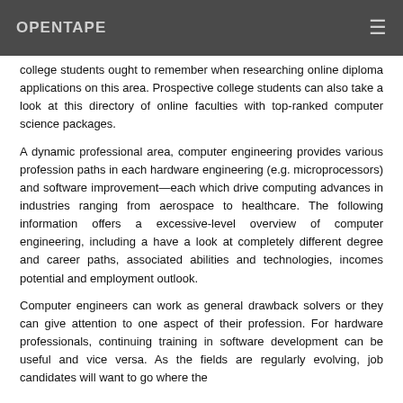OPENTAPE
college students ought to remember when researching online diploma applications on this area. Prospective college students can also take a look at this directory of online faculties with top-ranked computer science packages.
A dynamic professional area, computer engineering provides various profession paths in each hardware engineering (e.g. microprocessors) and software improvement—each which drive computing advances in industries ranging from aerospace to healthcare. The following information offers a excessive-level overview of computer engineering, including a have a look at completely different degree and career paths, associated abilities and technologies, incomes potential and employment outlook.
Computer engineers can work as general drawback solvers or they can give attention to one aspect of their profession. For hardware professionals, continuing training in software development can be useful and vice versa. As the fields are regularly evolving, job candidates will want to go where the